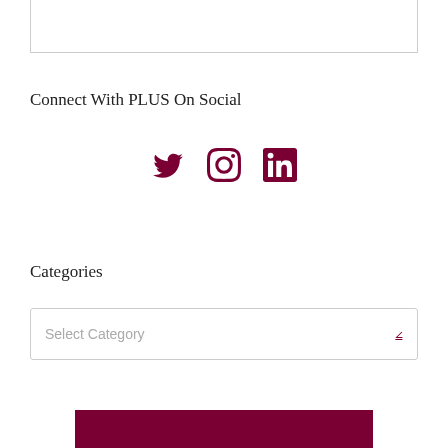Connect With PLUS On Social
[Figure (other): Social media icons: Twitter, Instagram, LinkedIn in dark maroon color]
Categories
Select Category